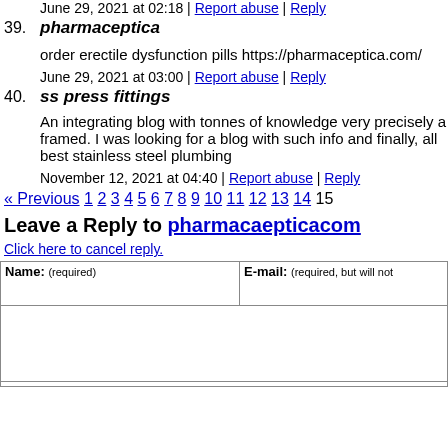June 29, 2021 at 02:18 | Report abuse | Reply
39. pharmaceptica
order erectile dysfunction pills https://pharmaceptica.com/
June 29, 2021 at 03:00 | Report abuse | Reply
40. ss press fittings
An integrating blog with tonnes of knowledge very precisely a framed. I was looking for a blog with such info and finally, all best stainless steel plumbing
November 12, 2021 at 04:40 | Report abuse | Reply
« Previous 1 2 3 4 5 6 7 8 9 10 11 12 13 14 15
Leave a Reply to pharmacaepticacom
Click here to cancel reply.
| Name: (required) | E-mail: (required, but will not) |
| --- | --- |
|  |  |